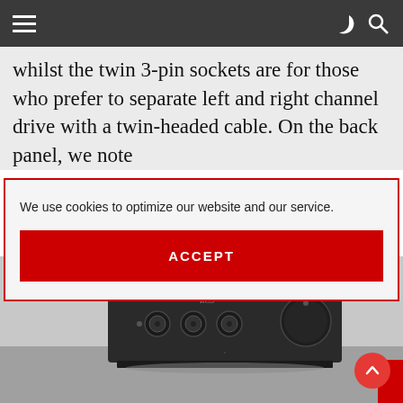Navigation bar with hamburger menu, dark/light mode toggle, and search icon
whilst the twin 3-pin sockets are for those who prefer to separate left and right channel drive with a twin-headed cable. On the back panel, we note
We use cookies to optimize our website and our service.
ACCEPT
[Figure (photo): Black headphone amplifier with RCS branding, featuring XLR sockets and a large volume knob, photographed on a grey surface]